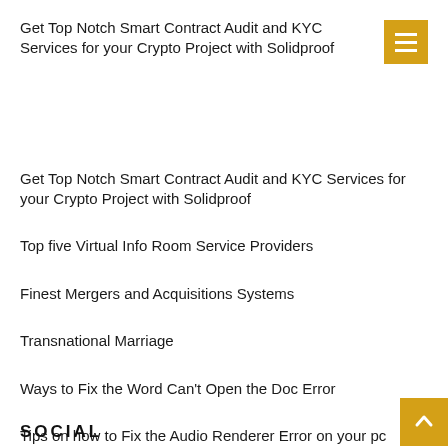Get Top Notch Smart Contract Audit and KYC Services for your Crypto Project with Solidproof
Get Top Notch Smart Contract Audit and KYC Services for your Crypto Project with Solidproof
Top five Virtual Info Room Service Providers
Finest Mergers and Acquisitions Systems
Transnational Marriage
Ways to Fix the Word Can't Open the Doc Error
Tips on how to Fix the Audio Renderer Error on your pc
Sensible Home Devices
SOCIAL